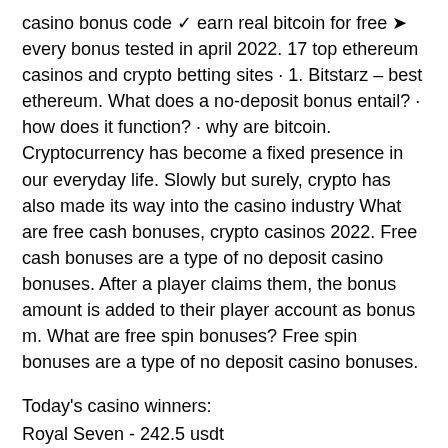casino bonus code ✓ earn real bitcoin for free ➤ every bonus tested in april 2022. 17 top ethereum casinos and crypto betting sites · 1. Bitstarz – best ethereum. What does a no-deposit bonus entail? · how does it function? · why are bitcoin. Cryptocurrency has become a fixed presence in our everyday life. Slowly but surely, crypto has also made its way into the casino industry What are free cash bonuses, crypto casinos 2022. Free cash bonuses are a type of no deposit casino bonuses. After a player claims them, the bonus amount is added to their player account as bonus m. What are free spin bonuses? Free spin bonuses are a type of no deposit casino bonuses.
Today's casino winners:
Royal Seven - 242.5 usdt
Weekend In Vegas - 253.9 eth
Lucky Haunter - 649.5 usdt
Hot bla 500.4 eth